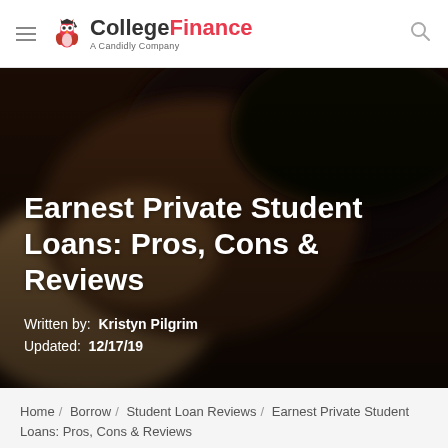CollegeFinance — A Candidly Company
[Figure (photo): Blurred close-up background photo of a person with dark hair, used as hero banner background]
Earnest Private Student Loans: Pros, Cons & Reviews
Written by: Kristyn Pilgrim
Updated: 12/17/19
Home / Borrow / Student Loan Reviews / Earnest Private Student Loans: Pros, Cons & Reviews
Share